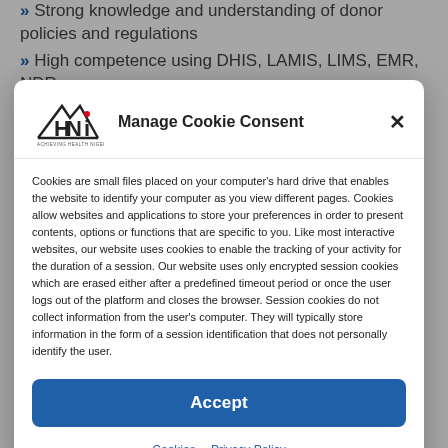» Strong knowledge and understanding of donor policies and regulations
» High competence using DHIS, LAMIS, LIMS, EMR, NDR
[Figure (logo): Achieving Health Nigeria Initiative (AHNI) logo — mountain/roof outline with 'HNi' text and red dot]
Manage Cookie Consent
Cookies are small files placed on your computer's hard drive that enables the website to identify your computer as you view different pages. Cookies allow websites and applications to store your preferences in order to present contents, options or functions that are specific to you. Like most interactive websites, our website uses cookies to enable the tracking of your activity for the duration of a session. Our website uses only encrypted session cookies which are erased either after a predefined timeout period or once the user logs out of the platform and closes the browser. Session cookies do not collect information from the user's computer. They will typically store information in the form of a session identification that does not personally identify the user.
Accept
Cookies  Privacy Policy